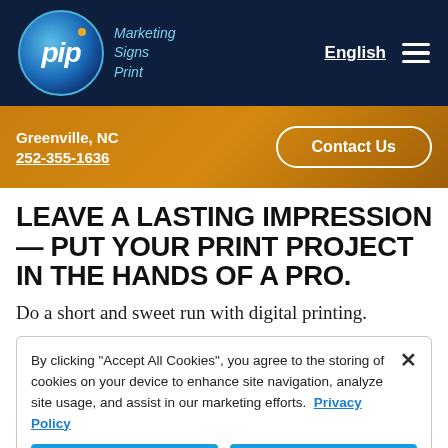[Figure (logo): PIP Marketing Signs Print logo with circular blue gradient emblem and tagline text]
English
Greenville, NC
252-355-1636
Contact Us
LEAVE A LASTING IMPRESSION — PUT YOUR PRINT PROJECT IN THE HANDS OF A PRO.
Do a short and sweet run with digital printing.
By clicking "Accept All Cookies", you agree to the storing of cookies on your device to enhance site navigation, analyze site usage, and assist in our marketing efforts.  Privacy Policy